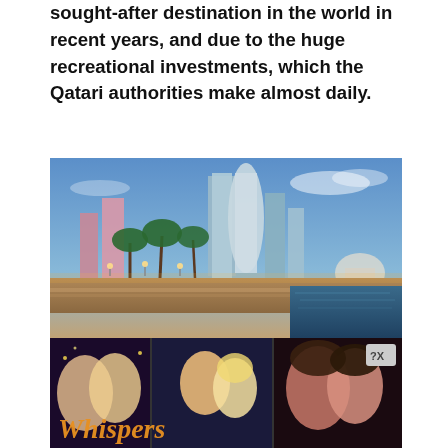sought-after destination in the world in recent years, and due to the huge recreational investments, which the Qatari authorities make almost daily.
[Figure (photo): Cityscape of Doha, Qatar, showing modern skyscrapers including twisted tower buildings and glass high-rises, with palm trees lining a waterfront promenade, photographed at dusk with city lights reflecting on water]
[Figure (photo): Advertisement for 'Whispers' interactive story game app, showing collage of romantic scenes with stylized illustrated characters, with a close button (? X) in the top right corner]